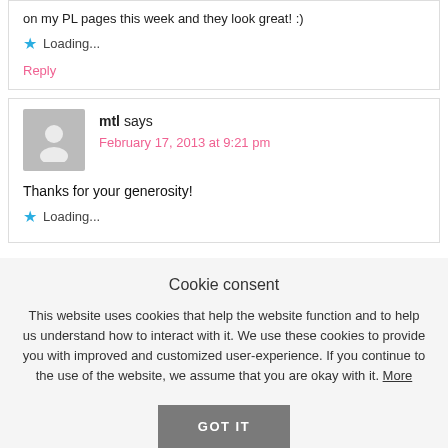on my PL pages this week and they look great! :)
Loading...
Reply
mtl says
February 17, 2013 at 9:21 pm
Thanks for your generosity!
Loading...
Cookie consent
This website uses cookies that help the website function and to help us understand how to interact with it. We use these cookies to provide you with improved and customized user-experience. If you continue to the use of the website, we assume that you are okay with it. More
GOT IT